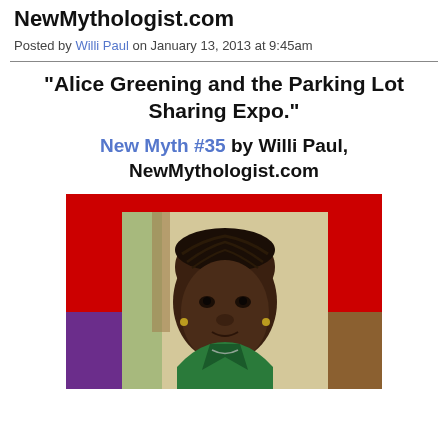NewMythologist.com
Posted by Willi Paul on January 13, 2013 at 9:45am
"Alice Greening and the Parking Lot Sharing Expo."
New Myth #35 by Willi Paul, NewMythologist.com
[Figure (photo): Portrait photo of a young Black girl with braided hair, wearing a green jacket, looking at the camera. The photo is framed with a red background, a purple block on the lower left, and a brown block on the lower right.]